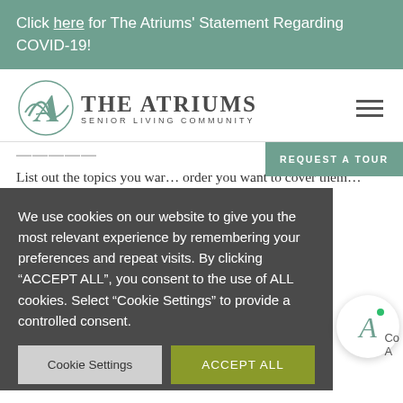Click here for The Atriums' Statement Regarding COVID-19!
[Figure (logo): The Atriums Senior Living Community logo with stylized A monogram]
List out the topics you war... order you want to cover them...
...l be more...
We use cookies on our website to give you the most relevant experience by remembering your preferences and repeat visits. By clicking "ACCEPT ALL", you consent to the use of ALL cookies. Select "Cookie Settings" to provide a controlled consent.
...onal, people...
...at yo...
4. BE EMPATHETIC